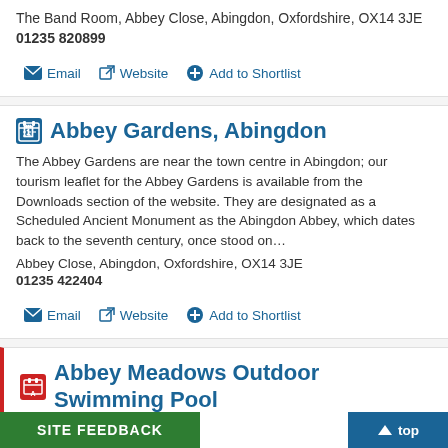The Band Room, Abbey Close, Abingdon, Oxfordshire, OX14 3JE
01235 820899
Email | Website | Add to Shortlist
Abbey Gardens, Abingdon
The Abbey Gardens are near the town centre in Abingdon; our tourism leaflet for the Abbey Gardens is available from the Downloads section of the website. They are designated as a Scheduled Ancient Monument as the Abingdon Abbey, which dates back to the seventh century, once stood on…
Abbey Close, Abingdon, Oxfordshire, OX14 3JE
01235 422404
Email | Website | Add to Shortlist
Abbey Meadows Outdoor Swimming Pool
Open May to September
Families love the Abbey Meadow Water Park, which provides a youngsters to enjoy water fun on a hot d…
Site feedback | top